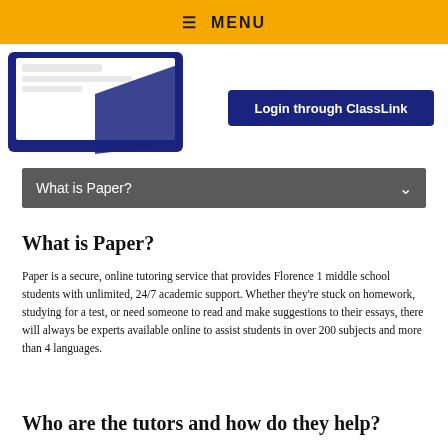≡ MENU
[Figure (screenshot): Screenshot of a device showing Paper tutoring interface with a dark navy background and a 'Login through ClassLink' button]
What is Paper?
What is Paper?
Paper is a secure, online tutoring service that provides Florence 1 middle school students with unlimited, 24/7 academic support. Whether they're stuck on homework, studying for a test, or need someone to read and make suggestions to their essays, there will always be experts available online to assist students in over 200 subjects and more than 4 languages.
Who are the tutors and how do they help?